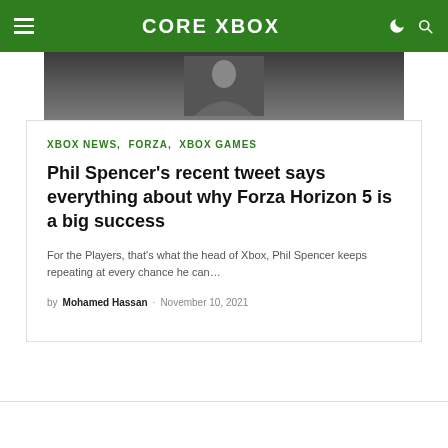CORE XBOX
[Figure (photo): Photo of a person in a dark jacket, cropped at chest/arm level]
XBOX NEWS, FORZA, XBOX GAMES
Phil Spencer’s recent tweet says everything about why Forza Horizon 5 is a big success
For the Players, that's what the head of Xbox, Phil Spencer keeps repeating at every chance he can…
by Mohamed Hassan · November 10, 2021